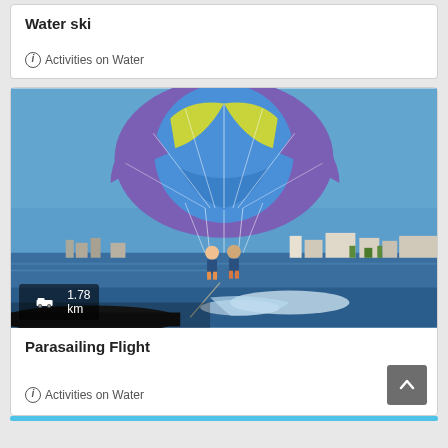Water ski
i  Activities on Water
[Figure (photo): Two people parasailing over the sea with a colorful purple, blue and yellow parachute canopy, being pulled by a boat. Coastal city skyline visible in background.]
1.78 km
Parasailing Flight
i  Activities on Water